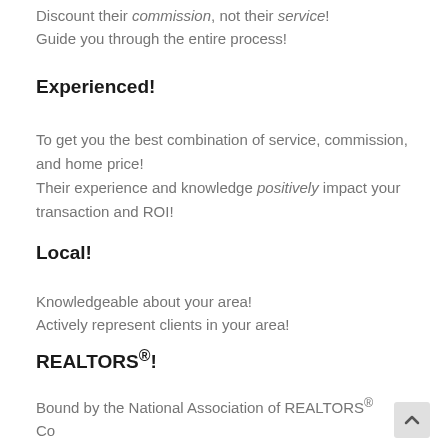Discount their commission, not their service! Guide you through the entire process!
Experienced!
To get you the best combination of service, commission, and home price! Their experience and knowledge positively impact your transaction and ROI!
Local!
Knowledgeable about your area! Actively represent clients in your area!
REALTORS®!
Bound by the National Association of REALTORS® Code of Ethics! Member of your local MLS®!